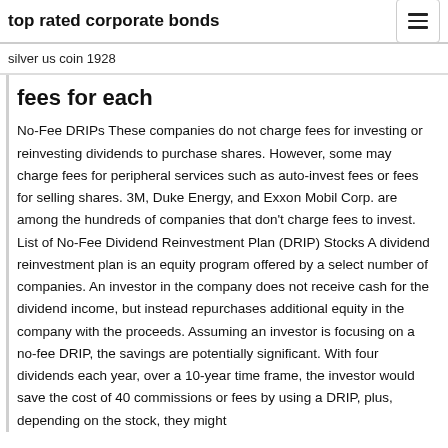top rated corporate bonds
silver us coin 1928
fees for each
No-Fee DRIPs These companies do not charge fees for investing or reinvesting dividends to purchase shares. However, some may charge fees for peripheral services such as auto-invest fees or fees for selling shares. 3M, Duke Energy, and Exxon Mobil Corp. are among the hundreds of companies that don't charge fees to invest. List of No-Fee Dividend Reinvestment Plan (DRIP) Stocks A dividend reinvestment plan is an equity program offered by a select number of companies. An investor in the company does not receive cash for the dividend income, but instead repurchases additional equity in the company with the proceeds. Assuming an investor is focusing on a no-fee DRIP, the savings are potentially significant. With four dividends each year, over a 10-year time frame, the investor would save the cost of 40 commissions or fees by using a DRIP, plus, depending on the stock, they might